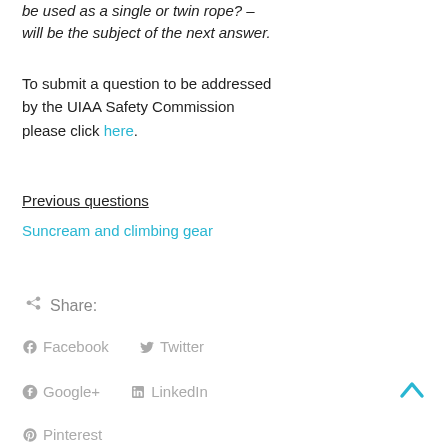be used as a single or twin rope? – will be the subject of the next answer.
To submit a question to be addressed by the UIAA Safety Commission please click here.
Previous questions
Suncream and climbing gear
Share:
Facebook
Twitter
Google+
LinkedIn
Pinterest